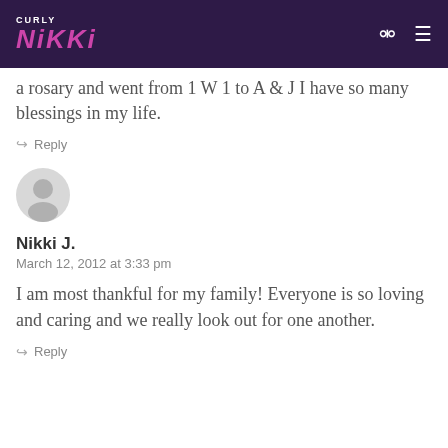CURLY NIKKI
a rosary and went from 1 W 1 to A & J I have so many blessings in my life.
Reply
[Figure (illustration): Default user avatar - grey silhouette of a person on light grey circle background]
Nikki J.
March 12, 2012 at 3:33 pm
I am most thankful for my family! Everyone is so loving and caring and we really look out for one another.
Reply